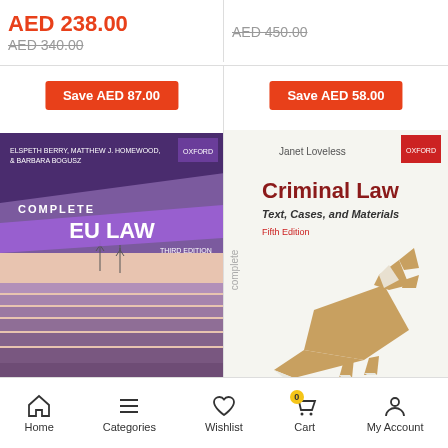AED 238.00
AED 340.00
AED 450.00
Save AED 87.00
[Figure (photo): Book cover: Complete EU Law, Third Edition, Oxford University Press, by Elspeth Berry, Matthew J. Homewood & Barbara Bogusz. Purple and lavender field background.]
Save AED 58.00
[Figure (photo): Book cover: Complete Criminal Law, Text, Cases, and Materials, Fifth Edition, Oxford University Press, by Janet Loveless. Features origami fox on white background.]
Home  Categories  Wishlist  Cart  My Account